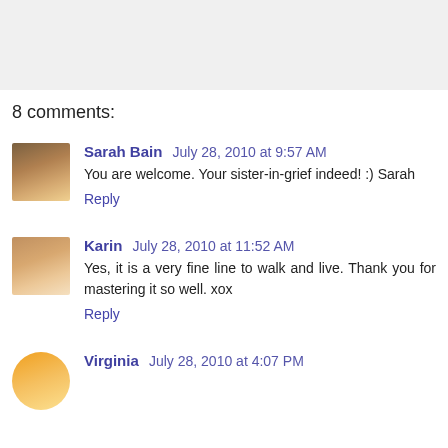[Figure (other): Gray banner area at top of page]
8 comments:
Sarah Bain  July 28, 2010 at 9:57 AM
You are welcome. Your sister-in-grief indeed! :) Sarah
Reply
Karin  July 28, 2010 at 11:52 AM
Yes, it is a very fine line to walk and live. Thank you for mastering it so well. xox
Reply
Virginia  July 28, 2010 at 4:07 PM